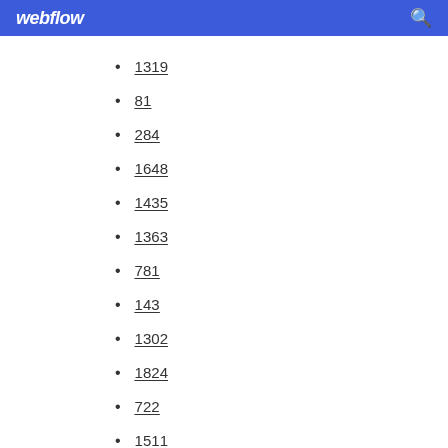webflow
1319
81
284
1648
1435
1363
781
143
1302
1824
722
1511